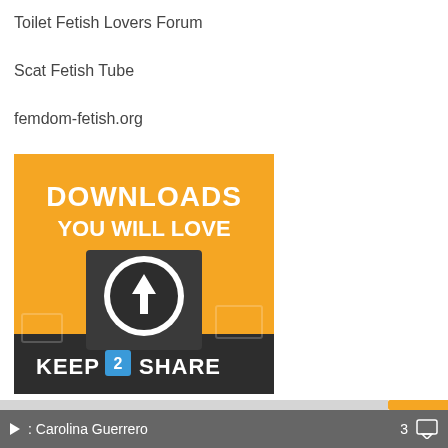Toilet Fetish Lovers Forum
Scat Fetish Tube
femdom-fetish.org
[Figure (other): Keep2Share advertisement banner: orange background with text 'DOWNLOADS YOU WILL LOVE', a dark download icon, and logo 'KEEP 2 SHARE' at bottom]
STAT
[Figure (other): Orange outlined arrow icon pointing upper-right (external link icon)]
: Carolina Guerrero   3